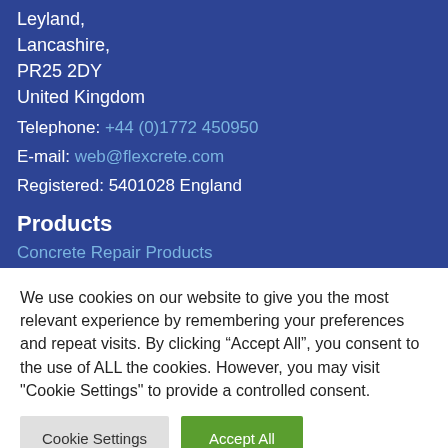Leyland,
Lancashire,
PR25 2DY
United Kingdom
Telephone: +44 (0)1772 450950
E-mail: web@flexcrete.com
Registered: 5401028 England
Products
Concrete Repair Products
We use cookies on our website to give you the most relevant experience by remembering your preferences and repeat visits. By clicking “Accept All”, you consent to the use of ALL the cookies. However, you may visit "Cookie Settings" to provide a controlled consent.